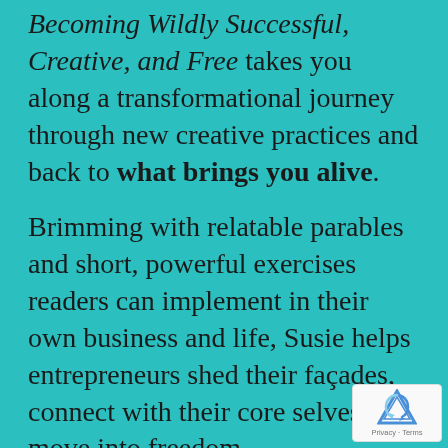Becoming Wildly Successful, Creative, and Free takes you along a transformational journey through new creative practices and back to what brings you alive.
Brimming with relatable parables and short, powerful exercises readers can implement in their own business and life, Susie helps entrepreneurs shed their façades, connect with their core selves, and move into freedom.
Buoyant is the entrepreneur's companion, mirror, and compass to ignite creativity, transmute fear into decisive action, and